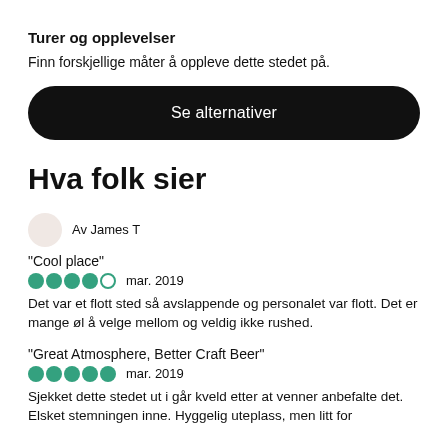Turer og opplevelser
Finn forskjellige måter å oppleve dette stedet på.
[Figure (other): Black rounded pill button with white text 'Se alternativer']
Hva folk sier
Av James T
"Cool place"
●●●●○  mar. 2019
Det var et flott sted så avslappende og personalet var flott. Det er mange øl å velge mellom og veldig ikke rushed.
"Great Atmosphere, Better Craft Beer"
●●●●●  mar. 2019
Sjekket dette stedet ut i går kveld etter at venner anbefalte det. Elsket stemningen inne. Hyggelig uteplass, men litt for